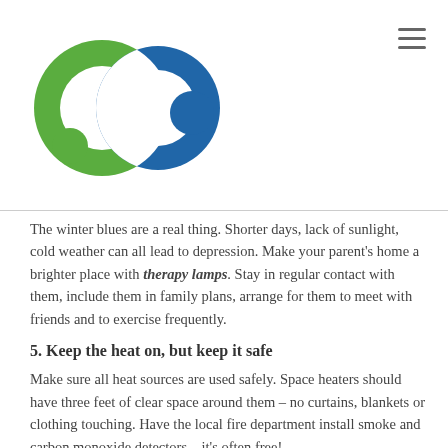[Figure (logo): Two interlocking circles logo — green ring on the left and blue ring on the right with overlapping center, company logo]
The winter blues are a real thing. Shorter days, lack of sunlight, cold weather can all lead to depression. Make your parent's home a brighter place with therapy lamps. Stay in regular contact with them, include them in family plans, arrange for them to meet with friends and to exercise frequently.
5. Keep the heat on, but keep it safe
Make sure all heat sources are used safely. Space heaters should have three feet of clear space around them – no curtains, blankets or clothing touching. Have the local fire department install smoke and carbon monoxide detectors – it's often free!